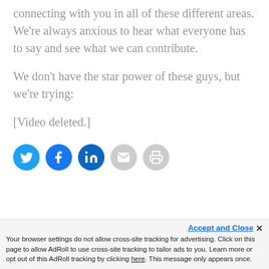connecting with you in all of these different areas. We're always anxious to hear what everyone has to say and see what we can contribute.
We don't have the star power of these guys, but we're trying:
[Video deleted.]
[Figure (infographic): Row of five social sharing icons: Twitter (blue), Facebook (dark blue), LinkedIn (teal/dark blue), Email (gray), Print (gray)]
Accept and Close ✕ Your browser settings do not allow cross-site tracking for advertising. Click on this page to allow AdRoll to use cross-site tracking to tailor ads to you. Learn more or opt out of this AdRoll tracking by clicking here. This message only appears once.